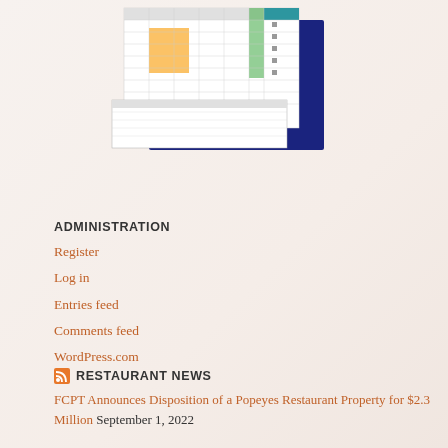[Figure (screenshot): Screenshot of a spreadsheet/table document with colored cells including yellow and green highlights, shown at an angle with a dark blue background behind it]
ADMINISTRATION
Register
Log in
Entries feed
Comments feed
WordPress.com
RESTAURANT NEWS
FCPT Announces Disposition of a Popeyes Restaurant Property for $2.3 Million September 1, 2022
P.F. Chang Opens New P.F. Chang&apos;s To Go in Longmont, Colorado August 31, 2022